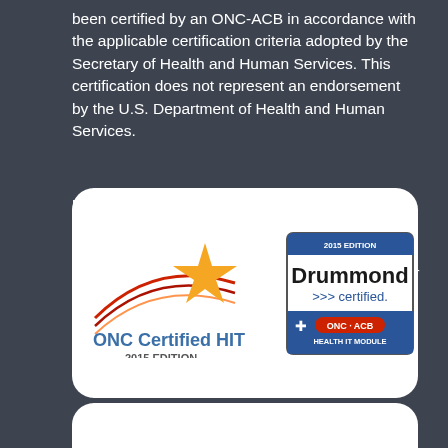been certified by an ONC-ACB in accordance with the applicable certification criteria adopted by the Secretary of Health and Human Services. This certification does not represent an endorsement by the U.S. Department of Health and Human Services.
Real World Testing:
ACB Real World Test Plan
ACB Real World Test Results (available November 2023)
[Figure (logo): ONC Certified HIT 2015 Edition logo with Drummond certified ONC-ACB Health IT Module badge (2015 Edition)]